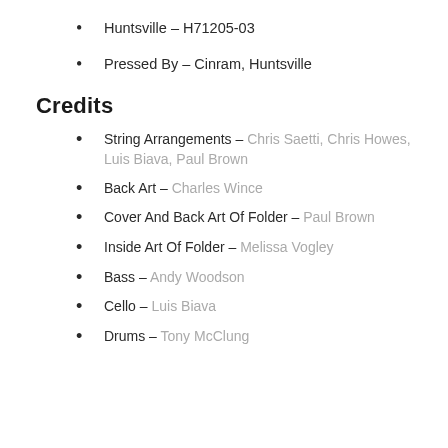Huntsville – H71205-03
Pressed By – Cinram, Huntsville
Credits
String Arrangements – Chris Saetti, Chris Howes, Luis Biava, Paul Brown
Back Art – Charles Wince
Cover And Back Art Of Folder – Paul Brown
Inside Art Of Folder – Melissa Vogley
Bass – Andy Woodson
Cello – Luis Biava
Drums – Tony McClung